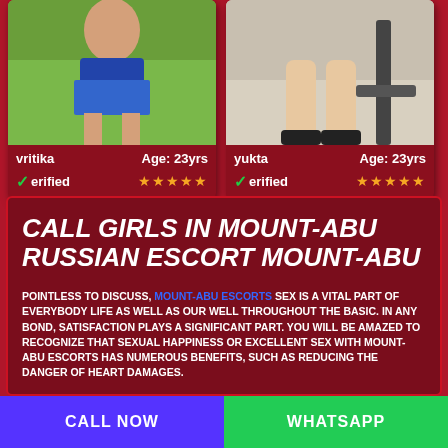[Figure (photo): Profile photo of vritika, woman in shorts outdoors with green background]
vritika   Age: 23yrs
✓Verified  ★★★★★
[Figure (photo): Profile photo of yukta, woman's legs near a chair]
yukta   Age: 23yrs
✓Verified  ★★★★★
CALL GIRLS IN MOUNT-ABU RUSSIAN ESCORT MOUNT-ABU
POINTLESS TO DISCUSS, MOUNT-ABU ESCORTS SEX IS A VITAL PART OF EVERYBODY LIFE AS WELL AS OUR WELL THROUGHOUT THE BASIC. IN ANY BOND, SATISFACTION PLAYS A SIGNIFICANT PART. YOU WILL BE AMAZED TO RECOGNIZE THAT SEXUAL HAPPINESS OR EXCELLENT SEX WITH MOUNT-ABU ESCORTS HAS NUMEROUS BENEFITS, SUCH AS REDUCING THE DANGER OF HEART DAMAGES.
CALL NOW
WHATSAPP